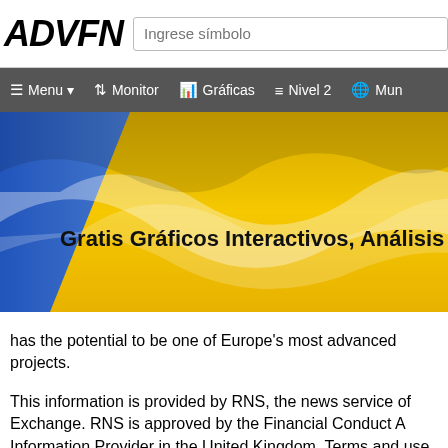[Figure (screenshot): ADVFN logo — bold italic black text on white background]
[Figure (screenshot): Search input box with placeholder 'Ingrese símbolo']
≡ Menu ▾   ↕ Monitor   📊 Gráficas   ≡≡ Nivel 2   🌐 Mun
[Figure (illustration): Golden/yellow wave banner with blue diagonal stripe on left side]
Gratis Gráficos Interactivos, Análisis Técn
has the potential to be one of Europe's most advanced projects.
This information is provided by RNS, the news service of Exchange. RNS is approved by the Financial Conduct A Information Provider in the United Kingdom. Terms and use and distribution of this information may apply. For fu contact rns@lseg.com or visit www.rns.com